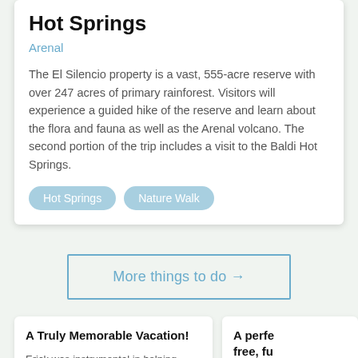El Silencio Mirador Trans & Baldi Hot Springs
Arenal
The El Silencio property is a vast, 555-acre reserve with over 247 acres of primary rainforest. Visitors will experience a guided hike of the reserve and learn about the flora and fauna as well as the Arenal volcano. The second portion of the trip includes a visit to the Baldi Hot Springs.
Hot Springs
Nature Walk
More things to do →
A Truly Memorable Vacation!
Erick was instrumental in helping
A perfe free, fu
Aside fro